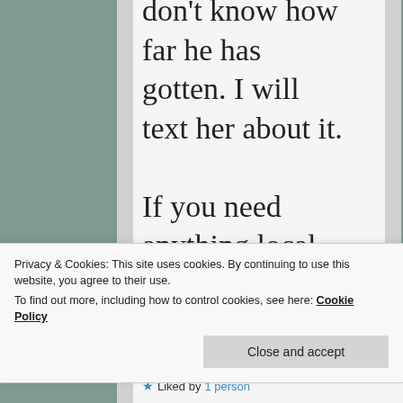don't know how far he has gotten. I will text her about it.
If you need anything local, let me
Privacy & Cookies: This site uses cookies. By continuing to use this website, you agree to their use.
To find out more, including how to control cookies, see here: Cookie Policy
Close and accept
Liked by 1 person